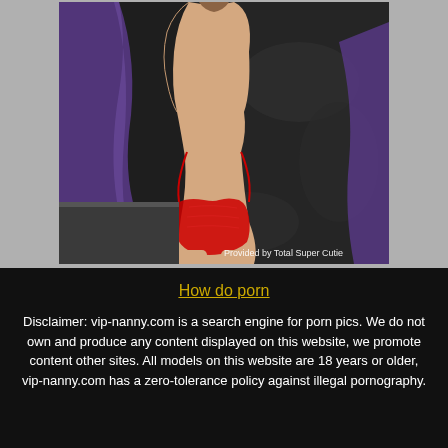[Figure (photo): Photo of a woman from behind wearing red underwear, holding a purple cloth, against a dark background. Watermark text reads: Provided by Total Super Cutie]
How do porn
Disclaimer: vip-nanny.com is a search engine for porn pics. We do not own and produce any content displayed on this website, we promote content other sites. All models on this website are 18 years or older, vip-nanny.com has a zero-tolerance policy against illegal pornography.